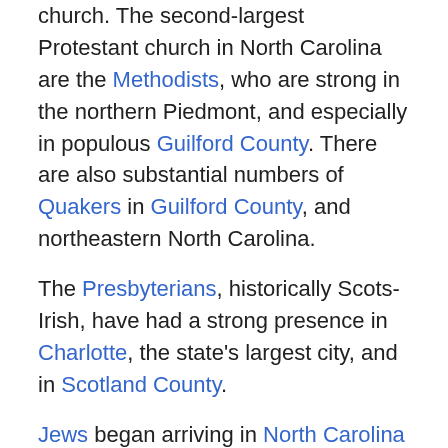church. The second-largest Protestant church in North Carolina are the Methodists, who are strong in the northern Piedmont, and especially in populous Guilford County. There are also substantial numbers of Quakers in Guilford County, and northeastern North Carolina.
The Presbyterians, historically Scots-Irish, have had a strong presence in Charlotte, the state's largest city, and in Scotland County.
Jews began arriving in North Carolina in the early to mid-19th century. Primarily German Jews, these early merchants established centers in the coastal cities of Wilmington and New Bern. It was not until the late 19th to early 20th century, however, that Eastern European Jews began to arrive in large numbers to Piedmont cities such as Charlotte and Greensboro. Today, most Jewish communities in North Carolina are centered around large